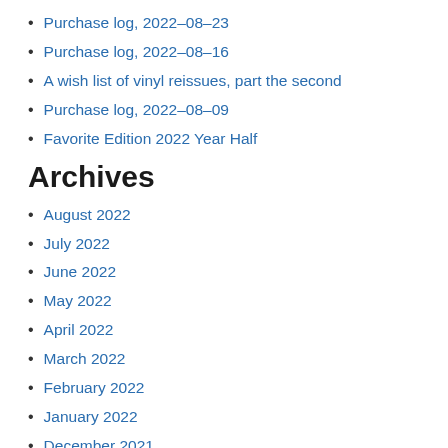Purchase log, 2022-08-23
Purchase log, 2022-08-16
A wish list of vinyl reissues, part the second
Purchase log, 2022-08-09
Favorite Edition 2022 Year Half
Archives
August 2022
July 2022
June 2022
May 2022
April 2022
March 2022
February 2022
January 2022
December 2021